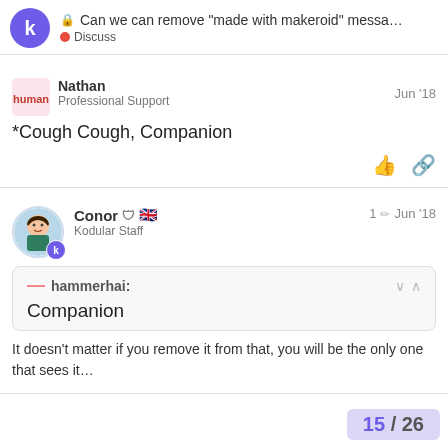Can we can remove "made with makeroid" messa... | Discuss
Nathan
Professional Support
Jun '18
*Cough Cough, Companion
Conor 🛡 🇬🇧
Kodular Staff
1 ✏ Jun '18
hammerhai:
Companion
It doesn't matter if you remove it from that, you will be the only one that sees it...
15 / 26